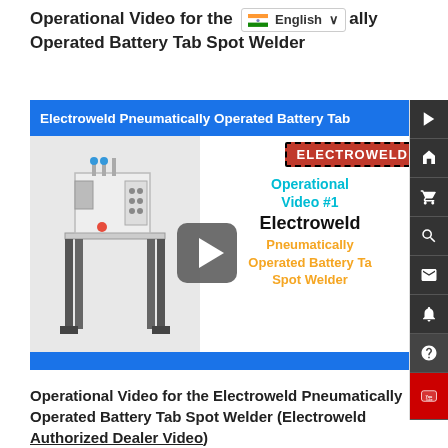Operational Video for the [English language selector] ally Operated Battery Tab Spot Welder
[Figure (screenshot): Video thumbnail for Electroweld Pneumatically Operated Battery Tab Spot Welder - shows the machine on left, with ELECTROWELD badge, 'Operational Video #1' text in cyan, 'Electroweld' in black bold, 'Pneumatically Operated Battery Tab Spot Welder' in orange bold, and a play button overlay in the center.]
Operational Video for the Electroweld Pneumatically Operated Battery Tab Spot Welder (Electroweld Authorized Dealer Video)